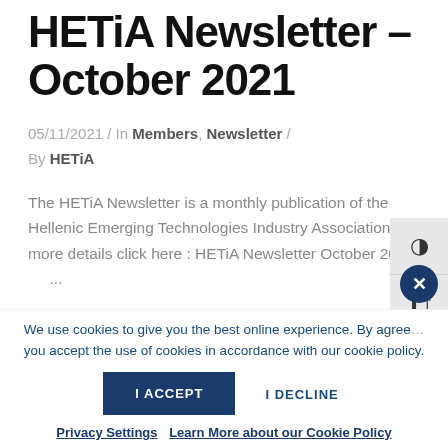HETiA Newsletter – October 2021
05/11/2021 / In Members, Newsletter / By HETiA
The HETiA Newsletter is a monthly publication of the Hellenic Emerging Technologies Industry Association For more details click here : HETiA Newsletter October 2021    ...
We use cookies to give you the best online experience. By agreeing you accept the use of cookies in accordance with our cookie policy.
I ACCEPT    I DECLINE
Privacy Settings    Learn More about our Cookie Policy